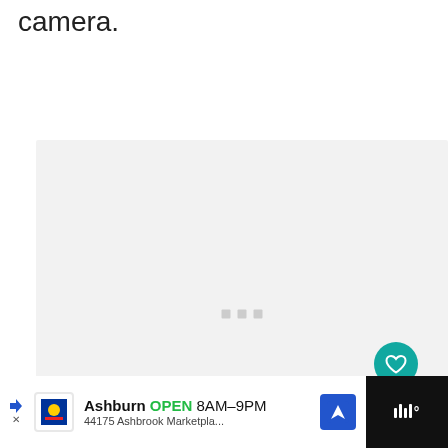camera.
[Figure (screenshot): Video player area with light gray background and loading dots in the center, with a teal heart/like button and a white share button on the right, and a 'What's Next' card at bottom right]
[Figure (screenshot): Advertisement bar at bottom: Lidl store ad showing 'Ashburn OPEN 8AM-9PM 44175 Ashbrook Marketpla...' with navigation arrow icon, and a dark right section with 'W°' logo]